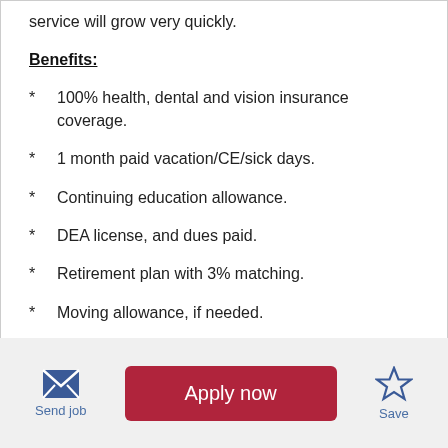service will grow very quickly.
Benefits:
100% health, dental and vision insurance coverage.
1 month paid vacation/CE/sick days.
Continuing education allowance.
DEA license, and dues paid.
Retirement plan with 3% matching.
Moving allowance, if needed.
Send job | Apply now | Save